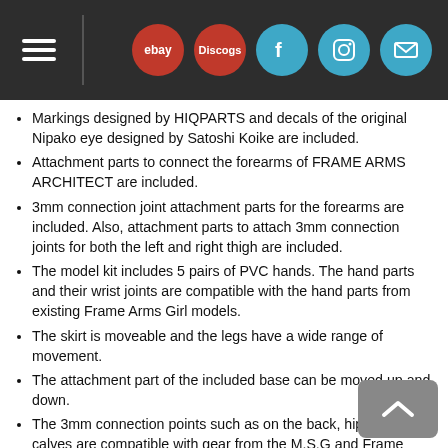Navigation header with hamburger menu, eBay, Discogs, Facebook, Instagram, and mail icons
Markings designed by HIQPARTS and decals of the original Nipako eye designed by Satoshi Koike are included.
Attachment parts to connect the forearms of FRAME ARMS ARCHITECT are included.
3mm connection joint attachment parts for the forearms are included. Also, attachment parts to attach 3mm connection joints for both the left and right thigh are included.
The model kit includes 5 pairs of PVC hands. The hand parts and their wrist joints are compatible with the hand parts from existing Frame Arms Girl models.
The skirt is moveable and the legs have a wide range of movement.
The attachment part of the included base can be moved up and down.
The 3mm connection points such as on the back, hips and calves are compatible with gear from the M.S.G and Frame Arms series.
Product height: 6.42 in
Materials: PS?PE?ABS?POM?PVC (Phthalate-free)?Steel
Package: Lidded Box
Sculptor: Yasunori Shimizu, VaistarStudio, 3C(Liberté)